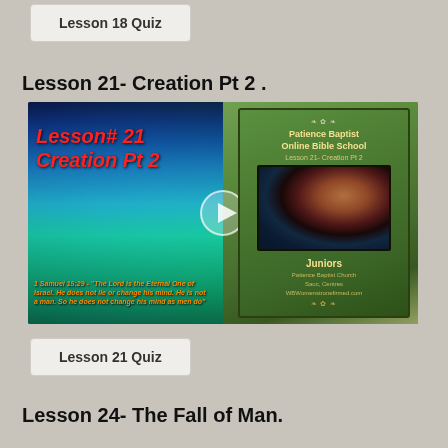Lesson 18 Quiz
Lesson 21- Creation Pt 2 .
[Figure (screenshot): Video thumbnail for Lesson 21 Creation Pt 2 showing a tropical ocean scene on the left with red italic text 'Lesson# 21 Creation Pt 2' and an orange scripture quote from 1 Samuel 15:29, a play button in the center, and a green book cover on the right showing 'Patience Baptist Online Bible School, Lesson 21- Creation Pt 2, Juniors, Patience Baptist Church, Sauk Centre, WBWomenstronefirmed.com']
Lesson 21 Quiz
Lesson 24- The Fall of Man.